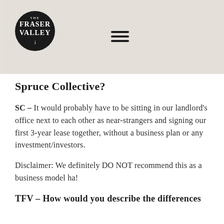[Figure (logo): The Fraser Valley circular logo — black circle with white text reading 'THE FRASER VALLEY' and a downward arrow]
[Figure (other): Hamburger menu icon — three horizontal black lines]
Spruce Collective?
SC – It would probably have to be sitting in our landlord's office next to each other as near-strangers and signing our first 3-year lease together, without a business plan or any investment/investors.
Disclaimer: We definitely DO NOT recommend this as a business model ha!
TFV – How would you describe the differences